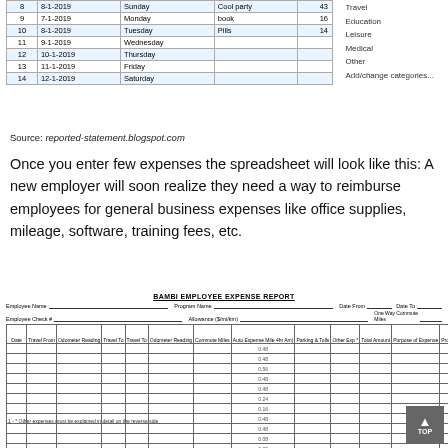| # | Date | Day | Category | Amount |  |
| --- | --- | --- | --- | --- | --- |
| 8 | 8-1-2019 | Sunday | Cool party | 43 | Travel |
| 9 | 7-1-2019 | Monday | book | 16 | Education |
| 10 | 8-1-2019 | Tuesday | Pills | 14 | Leisure |
| 11 | 9-1-2019 | Wednesday |  |  | Medical |
| 12 | 10-1-2019 | Thursday |  |  | Other |
| 13 | 11-1-2019 | Friday |  |  | Add/change categories... |
| 14 | 12-1-2019 | Saturday |  |  |  |
Source: reported-statement.blogspot.com
Once you enter few expenses the spreadsheet will look like this: A new employer will soon realize they need a way to reimburse employees for general business expenses like office supplies, mileage, software, training fees, etc.
[Figure (screenshot): BAMBI Employee Expense Report form with columns for Date, Travel From/To, Odometer Reading, Commute Miles, Auto Expense, Parking & Tolls, Other, Total Amount, Purpose, Program #. Contains multiple empty data rows and a TOTAL row.]
* Other expenses must be explained in detail on the reverse side.